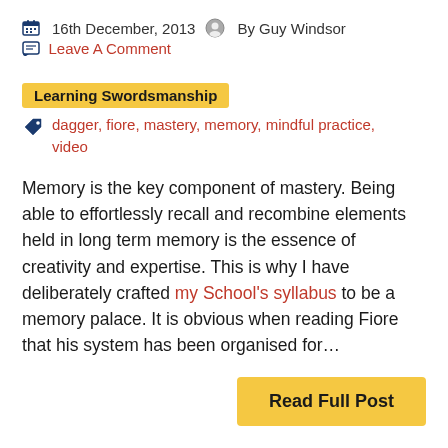16th December, 2013   By Guy Windsor
Leave A Comment
Learning Swordsmanship
dagger, fiore, mastery, memory, mindful practice, video
Memory is the key component of mastery. Being able to effortlessly recall and recombine elements held in long term memory is the essence of creativity and expertise. This is why I have deliberately crafted my School's syllabus to be a memory palace. It is obvious when reading Fiore that his system has been organised for…
Read Full Post